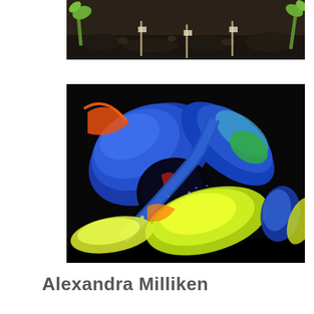[Figure (photo): Top portion of a photo showing plant seedlings growing in dark soil, with green stems/sprouts and small stakes visible.]
[Figure (photo): False-color infrared or multispectral image of a plant, showing leaves rendered in vivid blue, yellow, green, and red tones against a dark background. The image appears to be a scientific thermal or hyperspectral visualization of plant foliage.]
Alexandra Milliken